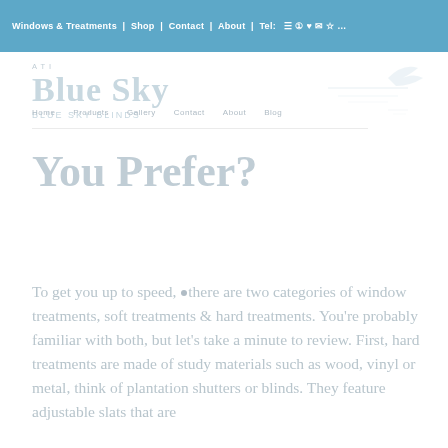Windows & Treatments | Shop | Contact | About | Tel | Icons
[Figure (logo): Blue Sky logo with tagline and decorative bird/swoosh graphic on the right]
You Prefer?
To get you up to speed, there are two categories of window treatments, soft treatments & hard treatments. You're probably familiar with both, but let's take a minute to review. First, hard treatments are made of study materials such as wood, vinyl or metal, think of plantation shutters or blinds. They feature adjustable slats that are...